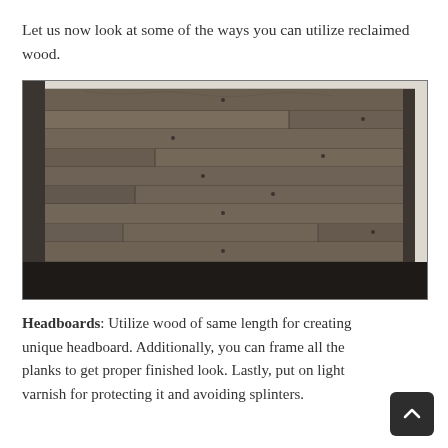Let us now look at some of the ways you can utilize reclaimed wood.
[Figure (photo): A headboard made from reclaimed wood planks of varying lengths arranged horizontally, with a rustic dark grey-brown weathered finish, photographed in a bedroom corner against a white wall with dark carpeted floor.]
Headboards: Utilize wood of same length for creating unique headboard. Additionally, you can frame all the planks to get proper finished look. Lastly, put on light varnish for protecting it and avoiding splinters.